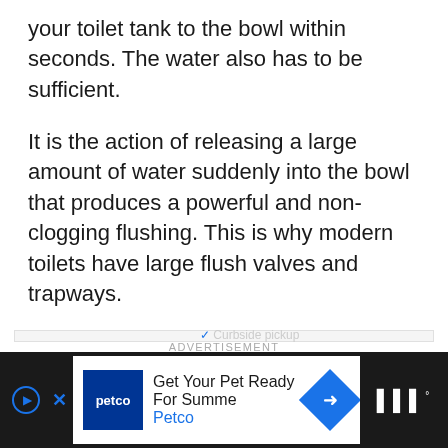your toilet tank to the bowl within seconds. The water also has to be sufficient.
It is the action of releasing a large amount of water suddenly into the bowl that produces a powerful and non-clogging flushing. This is why modern toilets have large flush valves and trapways.
[Figure (other): Advertisement placeholder box with 'ADVERTISEMENT' label, containing a Petco ad at the bottom with logo, text 'Get Your Pet Ready For Summe' and navigation elements]